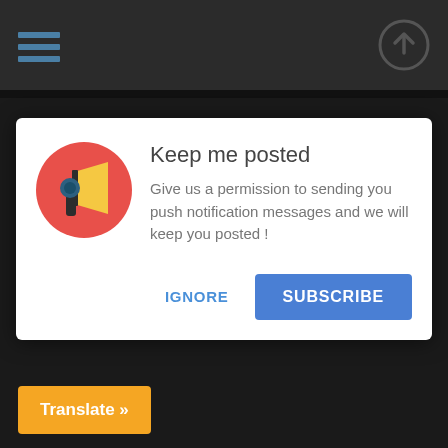[Figure (screenshot): Dark website header bar with hamburger menu icon (three horizontal blue lines) on the left and a circular upload/arrow icon on the right]
[Figure (infographic): White modal dialog popup with megaphone icon (red circle background, yellow megaphone, dark handle) on the left]
Keep me posted
Give us a permission to sending you push notification messages and we will keep you posted !
IGNORE
SUBSCRIBE
Translate »